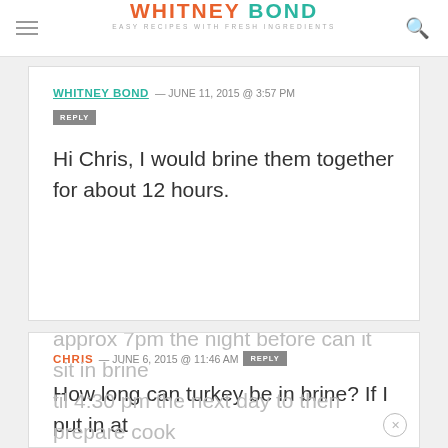WHITNEY BOND – EASY RECIPES WITH FRESH INGREDIENTS
WHITNEY BOND — JUNE 11, 2015 @ 3:57 PM
REPLY
Hi Chris, I would brine them together for about 12 hours.
CHRIS — JUNE 6, 2015 @ 11:46 AM REPLY
How long can turkey be in brine? If I put in at approx 7pm the night before can it sit in brine til 4:30 pm the next day to then prepare cook